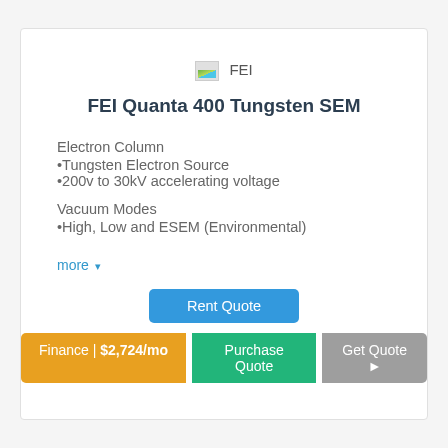[Figure (logo): FEI company logo placeholder image with text 'FEI']
FEI Quanta 400 Tungsten SEM
Electron Column
•Tungsten Electron Source
•200v to 30kV accelerating voltage
Vacuum Modes
•High, Low and ESEM (Environmental)
more ▾
Rent Quote
Finance | $2,724/mo   Purchase Quote   Get Quote ▶